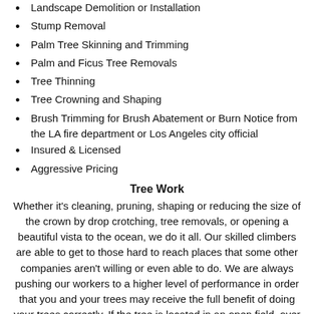Landscape Demolition or Installation
Stump Removal
Palm Tree Skinning and Trimming
Palm and Ficus Tree Removals
Tree Thinning
Tree Crowning and Shaping
Brush Trimming for Brush Abatement or Burn Notice from the LA fire department or Los Angeles city official
Insured & Licensed
Aggressive Pricing
Tree Work
Whether it's cleaning, pruning, shaping or reducing the size of the crown by drop crotching, tree removals, or opening a beautiful vista to the ocean, we do it all. Our skilled climbers are able to get to those hard to reach places that some other companies aren't willing or even able to do. We are always pushing our workers to a higher level of performance in order that you and your trees may receive the full benefit of doing your trees correctly. If the tree is located in an open field, over the road and wires, or even over the house, you can count on us to do the job safely. Our ability to communicate to the public is a reflection of the confidence that we have in our